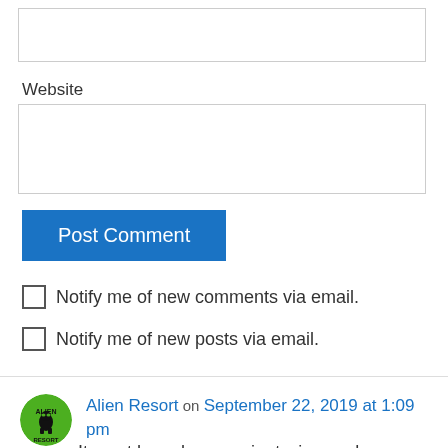[Figure (other): Empty text input box at top of page]
Website
[Figure (other): Empty website text input box]
[Figure (other): Blue 'Post Comment' button]
Notify me of new comments via email.
Notify me of new posts via email.
Alien Resort on September 22, 2019 at 1:09 pm
It must have been a giant wine cask.
Reply